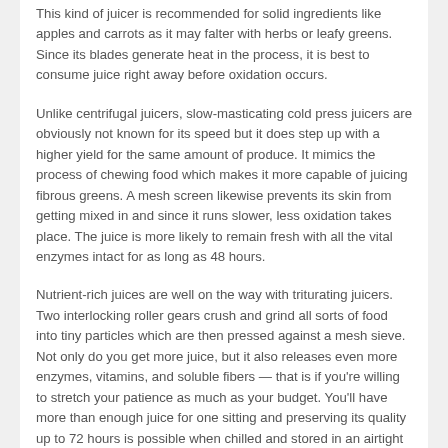This kind of juicer is recommended for solid ingredients like apples and carrots as it may falter with herbs or leafy greens. Since its blades generate heat in the process, it is best to consume juice right away before oxidation occurs.
Unlike centrifugal juicers, slow-masticating cold press juicers are obviously not known for its speed but it does step up with a higher yield for the same amount of produce. It mimics the process of chewing food which makes it more capable of juicing fibrous greens. A mesh screen likewise prevents its skin from getting mixed in and since it runs slower, less oxidation takes place. The juice is more likely to remain fresh with all the vital enzymes intact for as long as 48 hours.
Nutrient-rich juices are well on the way with triturating juicers. Two interlocking roller gears crush and grind all sorts of food into tiny particles which are then pressed against a mesh sieve. Not only do you get more juice, but it also releases even more enzymes, vitamins, and soluble fibers — that is if you're willing to stretch your patience as much as your budget. You'll have more than enough juice for one sitting and preserving its quality up to 72 hours is possible when chilled and stored in an airtight container.